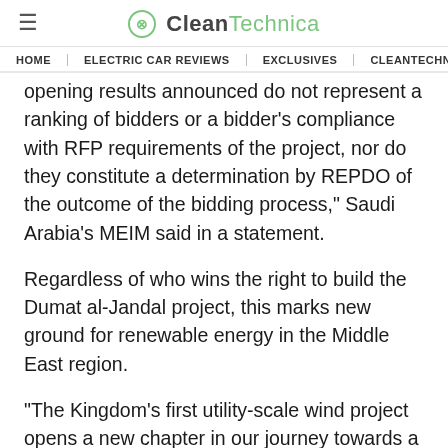CleanTechnica
HOME | ELECTRIC CAR REVIEWS | EXCLUSIVES | CLEANTECHN
opening results announced do not represent a ranking of bidders or a bidder’s compliance with RFP requirements of the project, nor do they constitute a determination by REPDO of the outcome of the bidding process,” Saudi Arabia’s MEIM said in a statement.
Regardless of who wins the right to build the Dumat al-Jandal project, this marks new ground for renewable energy in the Middle East region.
“The Kingdom’s first utility-scale wind project opens a new chapter in our journey towards a diversified energy mix,” said Khalid Al Falih...